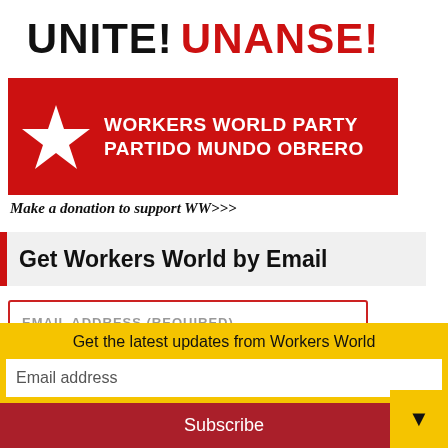[Figure (photo): Red and white banner reading 'UNITE! UNANSE! WORKERS WORLD PARTY / PARTIDO MUNDO OBRERO' with a white star on red background.]
Make a donation to support WW>>>
Get Workers World by Email
EMAIL ADDRESS (REQUIRED)
FIRST NAME
LAST NAME
Get the latest updates from Workers World
Email address
Subscribe